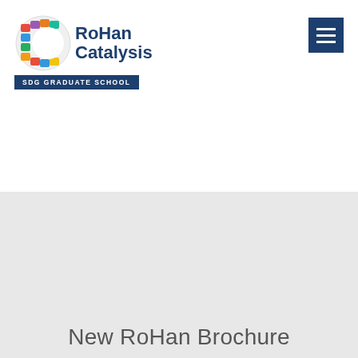[Figure (logo): RoHan Catalysis SDG Graduate School logo with colorful circular icon on the left and blue text on the right]
[Figure (other): Hamburger menu button (three horizontal white lines on dark blue square background)]
[Figure (illustration): Document/brochure icon inside a light grey dashed circle on grey background]
New RoHan Brochure